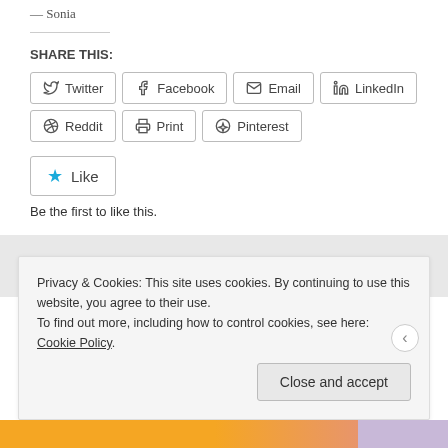— Sonia
SHARE THIS:
Twitter | Facebook | Email | LinkedIn | Reddit | Print | Pinterest
Like
Be the first to like this.
Privacy & Cookies: This site uses cookies. By continuing to use this website, you agree to their use.
To find out more, including how to control cookies, see here: Cookie Policy
Close and accept